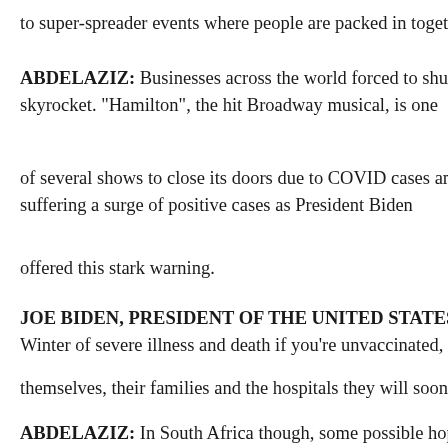to super-spreader events where people are packed in together in tha
ABDELAZIZ: Businesses across the world forced to shut as staff fa skyrocket. "Hamilton", the hit Broadway musical, is one
of several shows to close its doors due to COVID cases among acto suffering a surge of positive cases as President Biden
offered this stark warning.
JOE BIDEN, PRESIDENT OF THE UNITED STATES: For unvac Winter of severe illness and death if you're unvaccinated, for
themselves, their families and the hospitals they will soon overwhe
ABDELAZIZ: In South Africa though, some possible hopeful signs